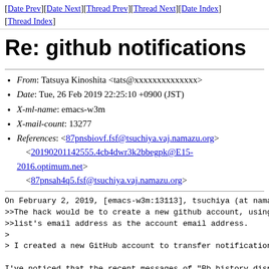[Date Prev][Date Next][Thread Prev][Thread Next][Date Index][Thread Index]
Re: github notifications
From: Tatsuya Kinoshita <tats@xxxxxxxxxxxxxx>
Date: Tue, 26 Feb 2019 22:25:10 +0900 (JST)
X-ml-name: emacs-w3m
X-mail-count: 13277
References: <87pnsbiovf.fsf@tsuchiya.vaj.namazu.org> <20190201142555.4cb4dwr3k2bbegpk@E15-2016.optimum.net> <87pnsah4q5.fsf@tsuchiya.vaj.namazu.org>
On February 2, 2019, [emacs-w3m:13113], tsuchiya (at nama
>>The hack would be to create a new github account, using
>>list's email address as the account email address.
>
> I created a new GitHub account to transfer notification

I've noticed that the recent messages of "Bb history disp
are not transferred to the mailing list.  Also, #20 seems